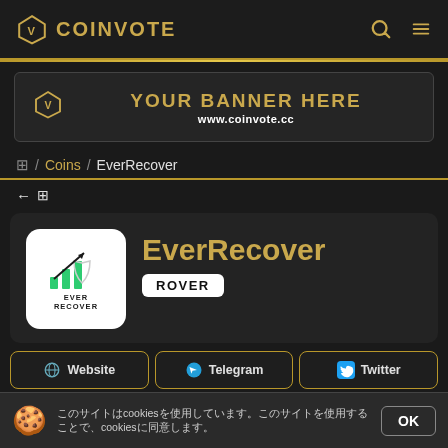COINVOTE
[Figure (screenshot): Advertisement banner: YOUR BANNER HERE / www.coinvote.cc]
🏠 / Coins / EverRecover
← 🏠
EverRecover
ROVER
Website
Telegram
Twitter
cookies cookies OK